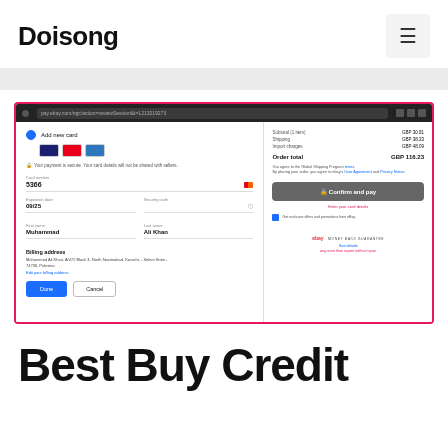Doisong
[Figure (screenshot): Screenshot of eBay checkout page showing 'Add new card' form with card number field showing '5366', expiration date '09/25', security code field, first name 'Muhammad', last name 'Ali Khan', billing address 'Muhammad Ali Khan, A/472 Block 3, North Nazimabad, Karachi, - Select State - 74700, Pakistan', Done and Cancel buttons. Right panel shows: Subtotal (1 item) GBP 30.81, Shipping GBP 38.33, Import charges GBP 48.09, Order total GBP 116.23, Confirm and pay button, Enter your card details, eBay Money Back Guarantee.]
Best Buy Credit